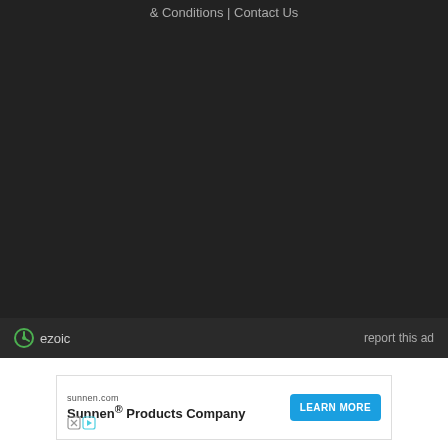& Conditions | Contact Us
[Figure (other): Dark background area with Ezoic branding bar showing ezoic logo and 'report this ad' text]
[Figure (other): Advertisement banner for Sunnen Products Company with sunnen.com domain, LEARN MORE button]